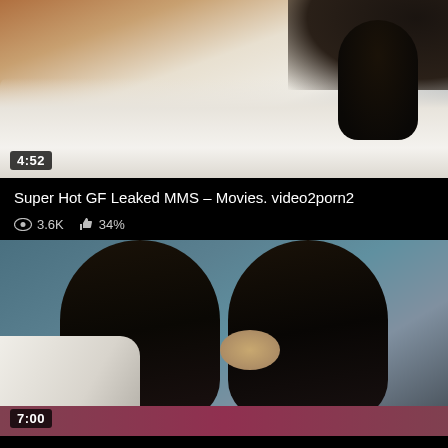[Figure (screenshot): Video thumbnail showing bedroom scene, duration badge 4:52]
Super Hot GF Leaked MMS – Movies. video2porn2
3.6K  34%
[Figure (screenshot): Video thumbnail showing two figures with dark hair from behind, duration badge 7:00]